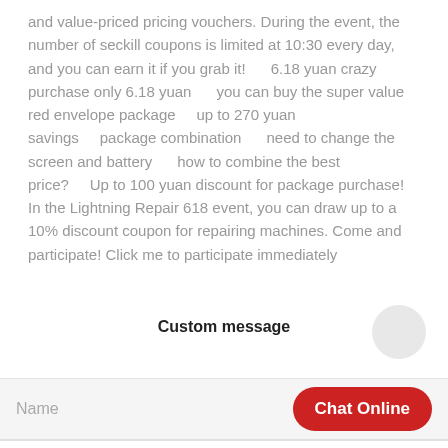and value-priced pricing vouchers. During the event, the number of seckill coupons is limited at 10:30 every day, and you can earn it if you grab it!      6.18 yuan crazy purchase only 6.18 yuan       you can buy the super value red envelope package      up to 270 yuan savings      package combination       need to change the screen and battery        how to combine the best price?      Up to 100 yuan discount for package purchase! In the Lightning Repair 618 event, you can draw up to a 10% discount coupon for repairing machines. Come and participate! Click me to participate immediately
Custom message
Name
Chat Online